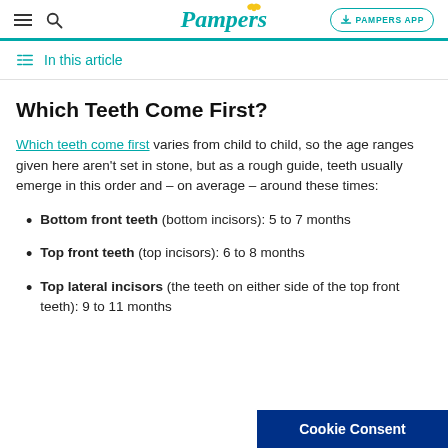Pampers | PAMPERS APP
In this article
Which Teeth Come First?
Which teeth come first varies from child to child, so the age ranges given here aren't set in stone, but as a rough guide, teeth usually emerge in this order and – on average – around these times:
Bottom front teeth (bottom incisors): 5 to 7 months
Top front teeth (top incisors): 6 to 8 months
Top lateral incisors (the teeth on either side of the top front teeth): 9 to 11 months